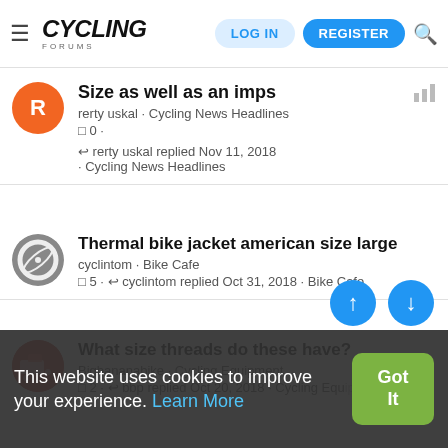Cycling Forums — LOG IN | REGISTER
Size as well as an imps
rerty uskal · Cycling News Headlines
□ 0 ·
↩ rerty uskal replied Nov 11, 2018 · Cycling News Headlines
Thermal bike jacket american size large
cyclintom · Bike Cafe
□ 5 · ↩ cyclintom replied Oct 31, 2018 · Bike Cafe
What size threads do these have?
Bigbananabike · Cycling Equipment
□ 2 · ↩ bbp replied Oct 20, 2018 · Cycling Equipment
This website uses cookies to improve your experience. Learn More
Got It